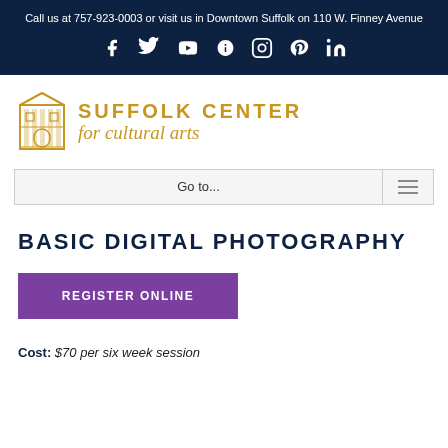Call us at 757-923-0003 or visit us in Downtown Suffolk on 110 W. Finney Avenue
[Figure (infographic): Social media icons row: Facebook, Twitter, YouTube, Yelp, Instagram, Pinterest, LinkedIn — white icons on dark navy background]
[Figure (logo): Suffolk Center for Cultural Arts logo — gold building illustration with gold text reading SUFFOLK CENTER for cultural arts]
Go to...
BASIC DIGITAL PHOTOGRAPHY
REGISTER ONLINE
Cost: $70 per six week session